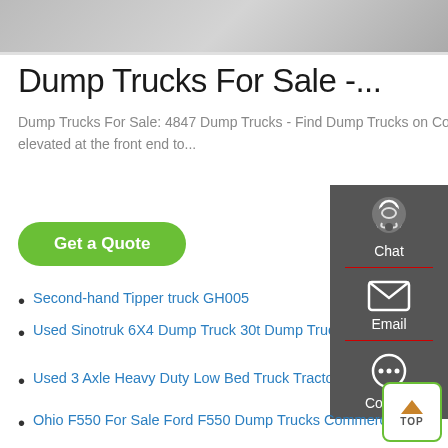[Figure (photo): Partial top image showing a grey surface, likely the top of a truck or vehicle]
Dump Trucks For Sale -...
Dump Trucks For Sale: 4847 Dump Trucks - Find Dump Trucks on Commercial Truck Trader. A dump truck is a truck whose bed can be elevated at the front end to...
Get a Quote
Second-hand Tipper truck GH005
Used Sinotruk 6X4 Dump Truck 30t Dump Truck for Sale
Used 3 Axle Heavy Duty Low Bed Truck Tractor Semi Trailer
Ohio F550 For Sale Ford F550 Dump Trucks Commercial
Used China Heavy Duty Truck HOWO 6x4 20cbm sino